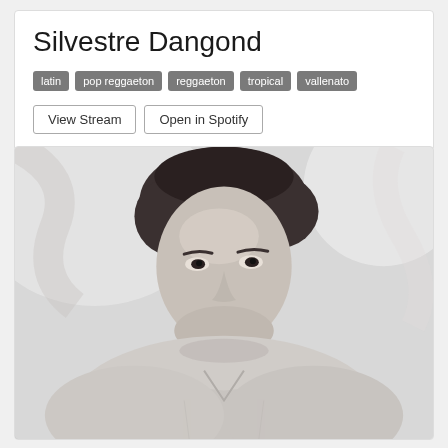Silvestre Dangond
latin
pop reggaeton
reggaeton
tropical
vallenato
View Stream | Open in Spotify
[Figure (photo): Black and white portrait photo of Silvestre Dangond, a young man with dark hair wearing a white v-neck t-shirt, looking at the camera with a slight smile, light background.]